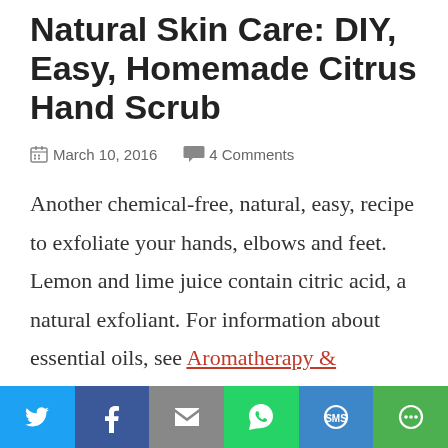Natural Skin Care: DIY, Easy, Homemade Citrus Hand Scrub
March 10, 2016    4 Comments
Another chemical-free, natural, easy, recipe to exfoliate your hands, elbows and feet. Lemon and lime juice contain citric acid, a natural exfoliant. For information about essential oils, see Aromatherapy & Essential Oils